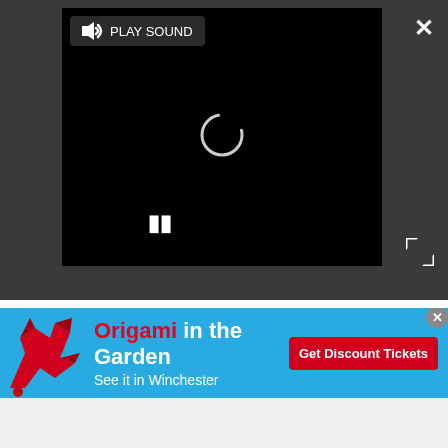[Figure (screenshot): Video player with black background, loading spinner, pause button, play sound button, close (X) button, and expand icon on dark grey background]
Since the news broke, there's been an outpouring of shock and sadness.
"I'm very saddened by the loss of the very talented, generous and always gracious L'wren Scott," said Nina
[Figure (infographic): Advertisement banner: Origami in the Garden - See it in Winchester - Get Discount Tickets button, with red origami horse on cyan/blue background]